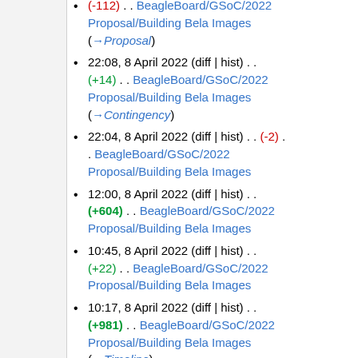(-112) . . BeagleBoard/GSoC/2022 Proposal/Building Bela Images (→Proposal)
22:08, 8 April 2022 (diff | hist) . . (+14) . . BeagleBoard/GSoC/2022 Proposal/Building Bela Images (→Contingency)
22:04, 8 April 2022 (diff | hist) . . (-2) . . BeagleBoard/GSoC/2022 Proposal/Building Bela Images
12:00, 8 April 2022 (diff | hist) . . (+604) . . BeagleBoard/GSoC/2022 Proposal/Building Bela Images
10:45, 8 April 2022 (diff | hist) . . (+22) . . BeagleBoard/GSoC/2022 Proposal/Building Bela Images
10:17, 8 April 2022 (diff | hist) . . (+981) . . BeagleBoard/GSoC/2022 Proposal/Building Bela Images (→Timeline)